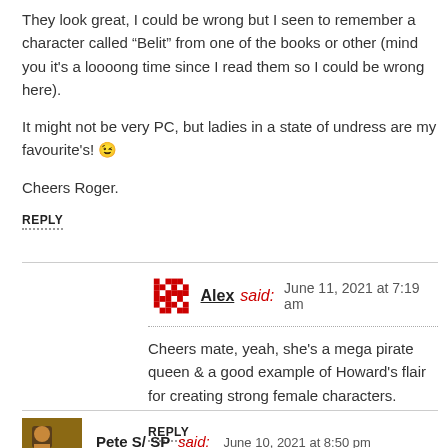They look great, I could be wrong but I seen to remember a character called “Belit” from one of the books or other (mind you it's a loooong time since I read them so I could be wrong here).
It might not be very PC, but ladies in a state of undress are my favourite's! 😉
Cheers Roger.
REPLY
Alex said: June 11, 2021 at 7:19 am
Cheers mate, yeah, she's a mega pirate queen & a good example of Howard's flair for creating strong female characters.
REPLY
Pete S/ SP said: June 10, 2021 at 8:50 pm